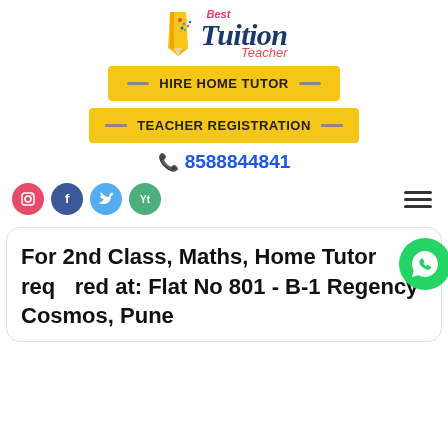[Figure (logo): Best Tuition Teacher logo with pencil and colorful text]
HIRE HOME TUTOR
TEACHER REGISTRATION
8588844841
[Figure (infographic): Social media icons: Instagram, Facebook, Twitter, YouTube and hamburger menu]
For 2nd Class, Maths, Home Tutor required at: Flat No 801 - B-1 Regency Cosmos, Pune